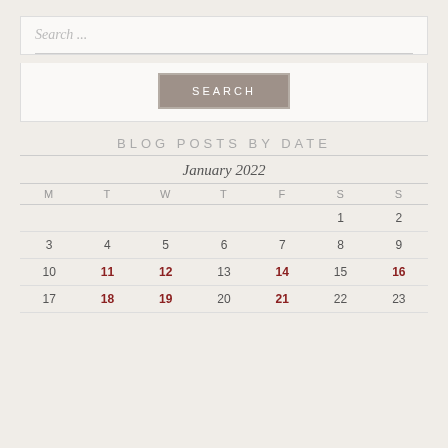Search ...
[Figure (other): SEARCH button with grey background and border]
BLOG POSTS BY DATE
| M | T | W | T | F | S | S |
| --- | --- | --- | --- | --- | --- | --- |
|  |  |  |  |  | 1 | 2 |
| 3 | 4 | 5 | 6 | 7 | 8 | 9 |
| 10 | 11 | 12 | 13 | 14 | 15 | 16 |
| 17 | 18 | 19 | 20 | 21 | 22 | 23 |